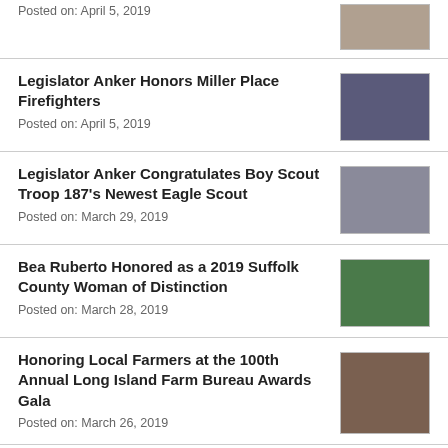Posted on: April 5, 2019
Legislator Anker Honors Miller Place Firefighters
Posted on: April 5, 2019
Legislator Anker Congratulates Boy Scout Troop 187's Newest Eagle Scout
Posted on: March 29, 2019
Bea Ruberto Honored as a 2019 Suffolk County Woman of Distinction
Posted on: March 28, 2019
Honoring Local Farmers at the 100th Annual Long Island Farm Bureau Awards Gala
Posted on: March 26, 2019
Legislator Anker Honors Miller Place Eagle